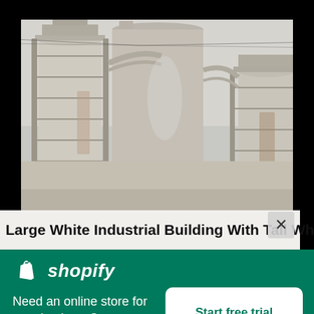[Figure (photo): Large white industrial building with tall white cylindrical silos, pipes, and metal scaffolding against a gray sky]
Large White Industrial Building With Tall White
[Figure (logo): Shopify logo — white shopping bag icon with 'shopify' in white italic bold text]
Need an online store for your business?
Start free trial